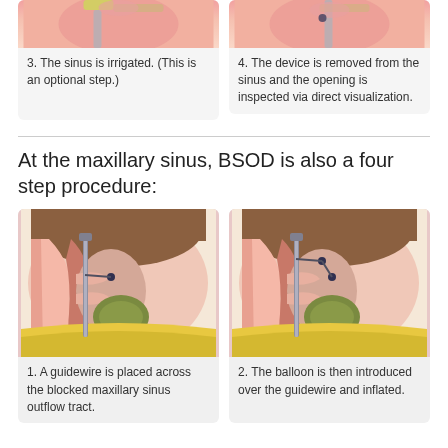[Figure (illustration): Medical illustration showing sinus irrigation procedure - step 3 (top cropped)]
3. The sinus is irrigated. (This is an optional step.)
[Figure (illustration): Medical illustration showing device removal from sinus - step 4 (top cropped)]
4. The device is removed from the sinus and the opening is inspected via direct visualization.
At the maxillary sinus, BSOD is also a four step procedure:
[Figure (illustration): Medical illustration of cross-section of maxillary sinus showing guidewire placed across blocked maxillary sinus outflow tract - step 1]
1. A guidewire is placed across the blocked maxillary sinus outflow tract.
[Figure (illustration): Medical illustration of cross-section of maxillary sinus showing balloon introduced over guidewire and inflated - step 2]
2. The balloon is then introduced over the guidewire and inflated.